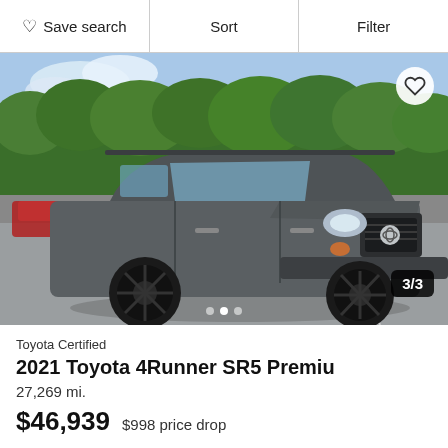Save search   Sort   Filter
[Figure (photo): Gray 2021 Toyota 4Runner SR5 Premium SUV parked in a lot, front 3/4 view, black wheels, green trees and partial red vehicle visible in background. Image counter shows 3/3. Three dot navigation indicators at bottom.]
Toyota Certified
2021 Toyota 4Runner SR5 Premiu
27,269 mi.
$46,939  $998 price drop